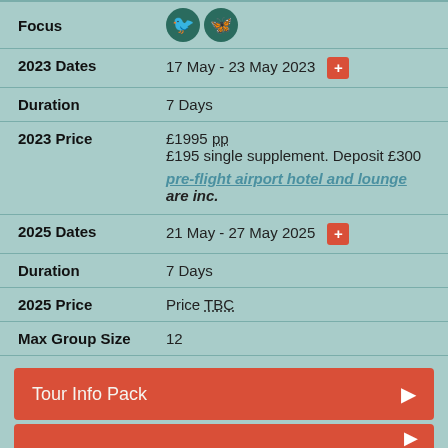| Field | Value |
| --- | --- |
| Focus | [bird icon] [butterfly icon] |
| 2023 Dates | 17 May - 23 May 2023 [+] |
| Duration | 7 Days |
| 2023 Price | £1995 pp
£195 single supplement. Deposit £300
pre-flight airport hotel and lounge are inc. |
| 2025 Dates | 21 May - 27 May 2025 [+] |
| Duration | 7 Days |
| 2025 Price | Price TBC |
| Max Group Size | 12 |
Tour Info Pack
[partial button]